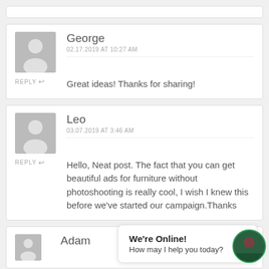[Figure (screenshot): Partial comment box at top of page, cut off]
George
02.17.2019 AT 10:27 AM
Great ideas! Thanks for sharing!
Leo
03.07.2019 AT 3:46 AM
Hello, Neat post. The fact that you can get beautiful ads for furniture without photoshooting is really cool, I wish I knew this before we've started our campaign.Thanks
Adam
We're Online!
How may I help you today?